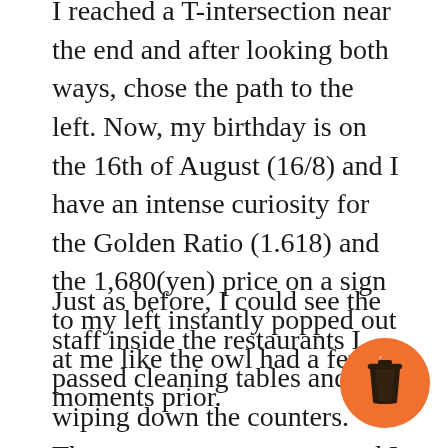I reached a T-intersection near the end and after looking both ways, chose the path to the left. Now, my birthday is on the 16th of August (16/8) and I have an intense curiosity for the Golden Ratio (1.618) and the 1,680(yen) price on a sign to my left instantly popped out at me like the owl had a few moments prior.
Just as before, I could see the staff inside the restaurants I passed cleaning tables and wiping down the counters. There were no customers and I didn't want to force a meal at a place where people were just about to leave for the night so I kept walking.
There was another T-intersection and I went to the right this time. Most of the neon-lights had been turned off but if I took another left, I would end back where I was. The alley was long, empty and veered off to the right, ending at a busy street that
[Figure (illustration): Orange circular button with a coffee cup icon (take-away cup with lid), positioned in the bottom-right corner of the page.]